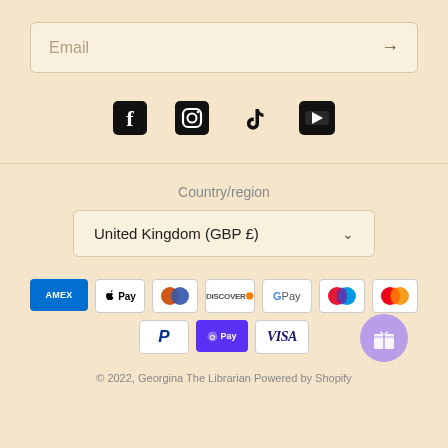Email
[Figure (infographic): Social media icons: Facebook, Instagram, TikTok, YouTube]
Country/region
United Kingdom (GBP £)
[Figure (infographic): Payment method badges: American Express, Apple Pay, Diners Club, Discover, Google Pay, Maestro, Mastercard, PayPal, Shop Pay, Visa]
© 2022, Georgina The Librarian Powered by Shopify